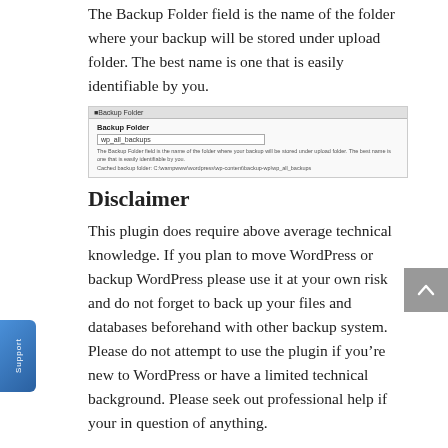The Backup Folder field is the name of the folder where your backup will be stored under upload folder. The best name is one that is easily identifiable by you.
[Figure (screenshot): Screenshot of the Backup Folder settings panel showing a label 'Backup Folder', an input field with value 'wp_all_backups', a description text, and a cached backup path.]
Disclaimer
This plugin does require above average technical knowledge. If you plan to move WordPress or backup WordPress please use it at your own risk and do not forget to back up your files and databases beforehand with other backup system. Please do not attempt to use the plugin if you’re new to WordPress or have a limited technical background. Please seek out professional help if your in question of anything.